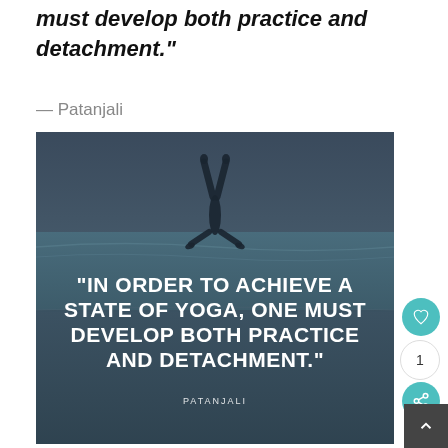must develop both practice and detachment."
— Patanjali
[Figure (illustration): Dark teal-toned image of a person doing a yoga pose (handstand or similar) on a beach at dusk with ocean waves in the background. Overlaid bold white text reads: "IN ORDER TO ACHIEVE A STATE OF YOGA, ONE MUST DEVELOP BOTH PRACTICE AND DETACHMENT." with PATANJALI credited beneath.]